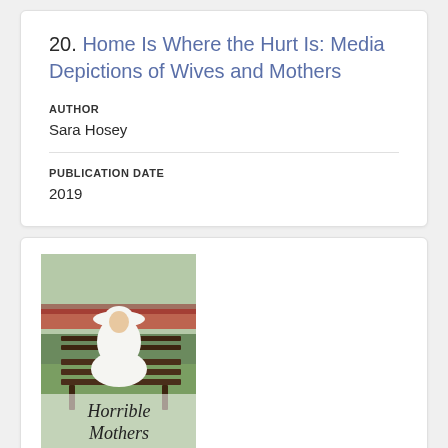20. Home Is Where the Hurt Is: Media Depictions of Wives and Mothers
AUTHOR
Sara Hosey
PUBLICATION DATE
2019
[Figure (photo): Book cover of 'Horrible Mothers' showing a woman in white dress and hat sitting on a park bench with red flowers in the background]